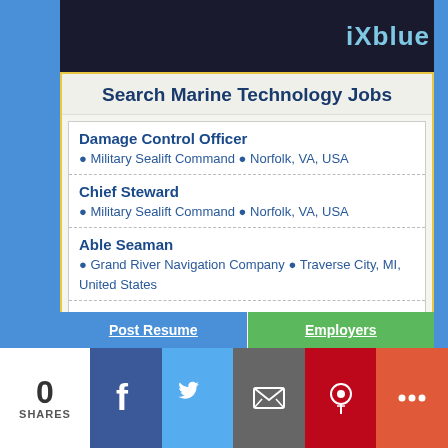[Figure (other): iXblue advertisement banner with dark background and teal logo text]
Search Marine Technology Jobs
Damage Control Officer
● Military Sealift Command ● Norfolk, VA, USA
Chief Steward
● Military Sealift Command ● Norfolk, VA, USA
Able Seaman
● Grand River Navigation Company ● Traverse City, MI, United States
Ship Communications Officer (IAM)
● Military Sealift Command
Operations Chief
● Military Sealift Command
0 SHARES | Post Resume | Employers